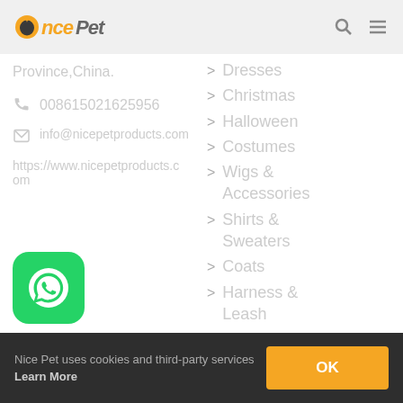OncePet
Province,China.
008615021625956
info@nicepetproducts.com
https://www.nicepetproducts.com
> Dresses
> Christmas
> Halloween
> Costumes
> Wigs & Accessories
> Shirts & Sweaters
> Coats
> Harness & Leash
> Dog Collars
[Figure (logo): WhatsApp green rounded square icon]
Nice Pet uses cookies and third-party services Learn More OK